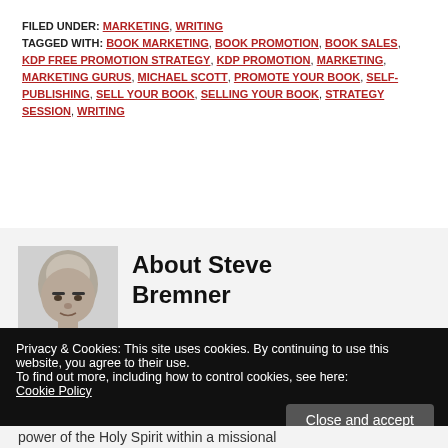FILED UNDER: MARKETING, WRITING
TAGGED WITH: BOOK MARKETING, BOOK PROMOTION, BOOK SALES, KDP FREE PROMOTION STRATEGY, KDP PROMOTION, MARKETING, MARKETING GURUS, MICHAEL SCOTT, PROMOTE YOUR BOOK, SELF-PUBLISHING, SELL YOUR BOOK, SELLING YOUR BOOK, STRATEGY SESSION, WRITING
About Steve Bremner
[Figure (photo): Black and white headshot photo of Steve Bremner, a bald man]
Privacy & Cookies: This site uses cookies. By continuing to use this website, you agree to their use.
To find out more, including how to control cookies, see here: Cookie Policy
Close and accept
power of the Holy Spirit within a missional